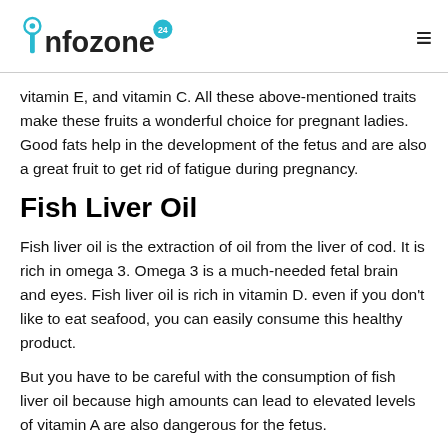infozone24
vitamin E, and vitamin C. All these above-mentioned traits make these fruits a wonderful choice for pregnant ladies. Good fats help in the development of the fetus and are also a great fruit to get rid of fatigue during pregnancy.
Fish Liver Oil
Fish liver oil is the extraction of oil from the liver of cod. It is rich in omega 3. Omega 3 is a much-needed fetal brain and eyes. Fish liver oil is rich in vitamin D. even if you don't like to eat seafood, you can easily consume this healthy product.
But you have to be careful with the consumption of fish liver oil because high amounts can lead to elevated levels of vitamin A are also dangerous for the fetus.